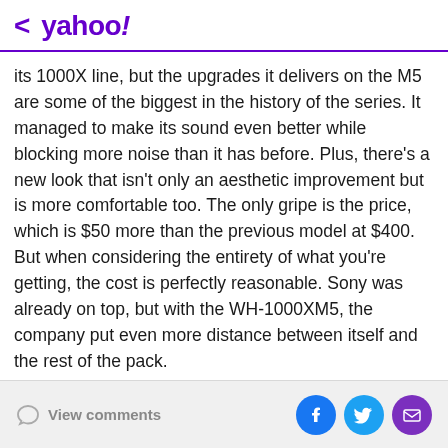< yahoo!
its 1000X line, but the upgrades it delivers on the M5 are some of the biggest in the history of the series. It managed to make its sound even better while blocking more noise than it has before. Plus, there's a new look that isn't only an aesthetic improvement but is more comfortable too. The only gripe is the price, which is $50 more than the previous model at $400. But when considering the entirety of what you're getting, the cost is perfectly reasonable. Sony was already on top, but with the WH-1000XM5, the company put even more distance between itself and the rest of the pack.
View comments